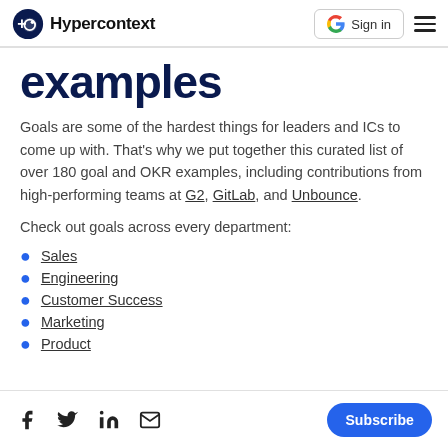Hypercontext | Sign in
examples
Goals are some of the hardest things for leaders and ICs to come up with. That's why we put together this curated list of over 180 goal and OKR examples, including contributions from high-performing teams at G2, GitLab, and Unbounce.
Check out goals across every department:
Sales
Engineering
Customer Success
Marketing
Product
Social icons: Facebook, Twitter, LinkedIn, Email | Subscribe